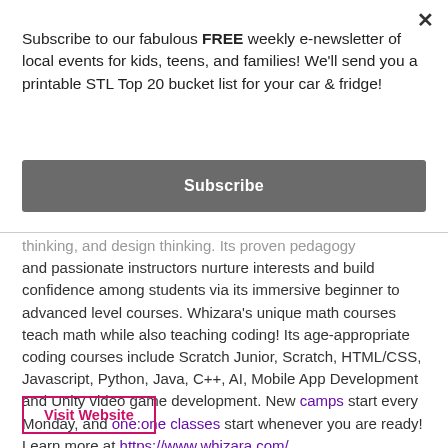×
Subscribe to our fabulous FREE weekly e-newsletter of local events for kids, teens, and families! We'll send you a printable STL Top 20 bucket list for your car & fridge!
Subscribe
thinking, and design thinking. Its proven pedagogy and passionate instructors nurture interests and build confidence among students via its immersive beginner to advanced level courses. Whizara's unique math courses teach math while also teaching coding! Its age-appropriate coding courses include Scratch Junior, Scratch, HTML/CSS, Javascript, Python, Java, C++, AI, Mobile App Development and Unity video game development. New camps start every Monday, and one:one classes start whenever you are ready! Learn more at https://www.whizara.com/
Visit Website